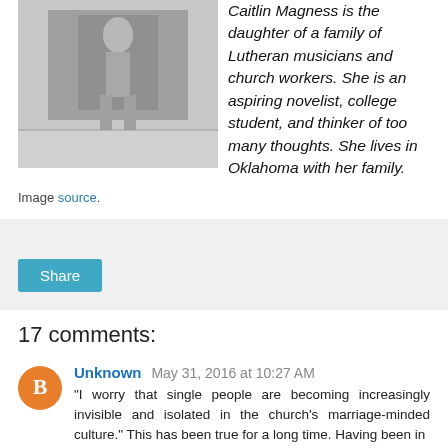[Figure (photo): Black and white photograph of a person standing outside a building]
Caitlin Magness is the daughter of a family of Lutheran musicians and church workers. She is an aspiring novelist, college student, and thinker of too many thoughts. She lives in Oklahoma with her family.
Image source.
Share
17 comments:
Unknown May 31, 2016 at 10:27 AM
"I worry that single people are becoming increasingly invisible and isolated in the church's marriage-minded culture." This has been true for a long time. Having been in